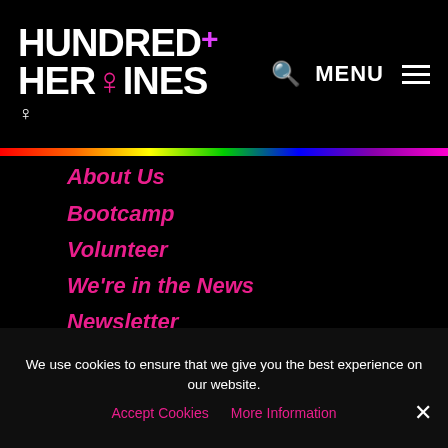HUNDRED+ HEROINES ♀ [logo] MENU
About Us
Bootcamp
Volunteer
We're in the News
Newsletter
Shop
Privacy Policy
Contact us
Donate
Donate
We use cookies to ensure that we give you the best experience on our website.
Accept Cookies   More Information